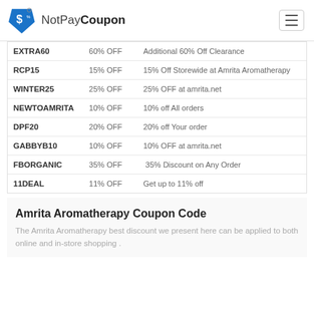NotPayCoupon
| Code | Discount | Description |
| --- | --- | --- |
| EXTRA60 | 60% OFF | Additional 60% Off Clearance |
| RCP15 | 15% OFF | 15% Off Storewide at Amrita Aromatherapy |
| WINTER25 | 25% OFF | 25% OFF at amrita.net |
| NEWTOAMRITA | 10% OFF | 10% off All orders |
| DPF20 | 20% OFF | 20% off Your order |
| GABBYB10 | 10% OFF | 10% OFF at amrita.net |
| FBORGANIC | 35% OFF | 35% Discount on Any Order |
| 11DEAL | 11% OFF | Get up to 11% off |
Amrita Aromatherapy Coupon Code
The Amrita Aromatherapy best discount we present here can be applied to both online and in-store shopping .